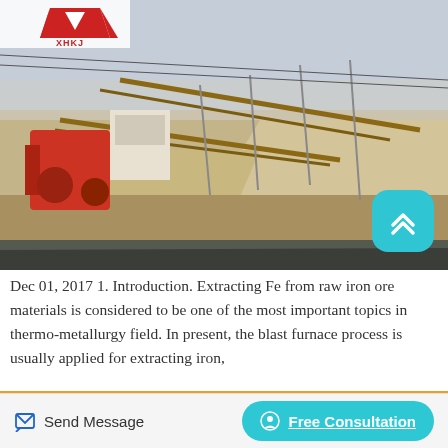[Figure (photo): Industrial iron ore processing facility with conveyor belts and large stockpiles of ore/aggregate materials under a hazy sky. XHKJ logo visible in top-left corner.]
Dec 01, 2017 1. Introduction. Extracting Fe from raw iron ore materials is considered to be one of the most important topics in thermo-metallurgy field. In present, the blast furnace process is usually applied for extracting iron,
Send Message   Free Consultation